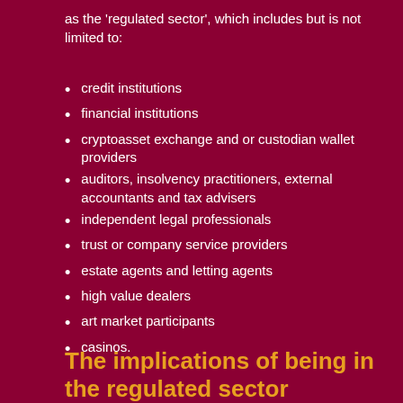as the 'regulated sector', which includes but is not limited to:
credit institutions
financial institutions
cryptoasset exchange and or custodian wallet providers
auditors, insolvency practitioners, external accountants and tax advisers
independent legal professionals
trust or company service providers
estate agents and letting agents
high value dealers
art market participants
casinos.
The implications of being in the regulated sector